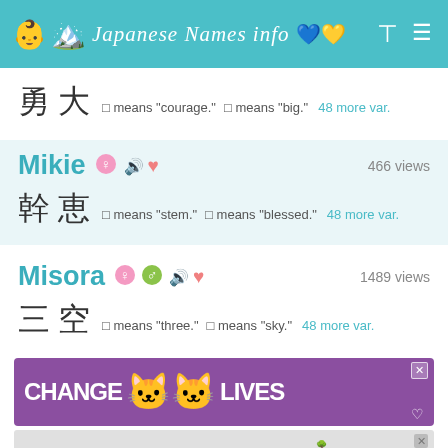Japanese Names info
勇大  □ means "courage."  □ means "big."  48 more var.
Mikie  466 views
幹恵  □ means "stem."  □ means "blessed."  48 more var.
Misora  1489 views
三空  □ means "three."  □ means "sky."  48 more var.
[Figure (screenshot): Advertisement banner: CHANGE LIVES with cat photos on purple background]
[Figure (screenshot): Advertisement: Learn the signs to prevent school shootings. Sandy Hook Promise.]